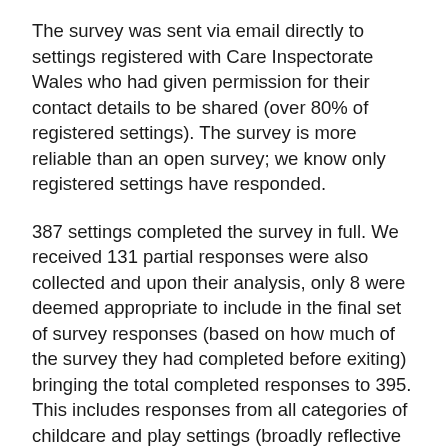The survey was sent via email directly to settings registered with Care Inspectorate Wales who had given permission for their contact details to be shared (over 80% of registered settings). The survey is more reliable than an open survey; we know only registered settings have responded.
387 settings completed the survey in full. We received 131 partial responses were also collected and upon their analysis, only 8 were deemed appropriate to include in the final set of survey responses (based on how much of the survey they had completed before exiting) bringing the total completed responses to 395. This includes responses from all categories of childcare and play settings (broadly reflective of the sector; nearly 50% of responses were from childminders), and includes settings from all 22 local authorities.